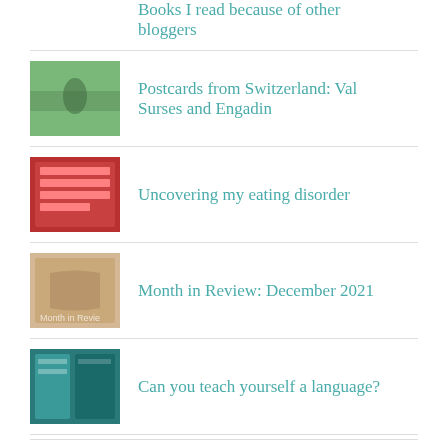Books I read because of other bloggers
Postcards from Switzerland: Val Surses and Engadin
Uncovering my eating disorder
Month in Review: December 2021
Can you teach yourself a language?
Recently Read